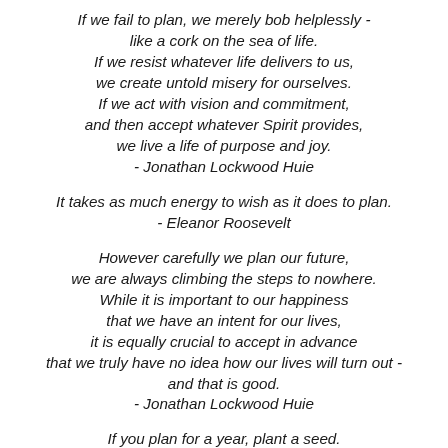If we fail to plan, we merely bob helplessly - like a cork on the sea of life. If we resist whatever life delivers to us, we create untold misery for ourselves. If we act with vision and commitment, and then accept whatever Spirit provides, we live a life of purpose and joy. - Jonathan Lockwood Huie
It takes as much energy to wish as it does to plan. - Eleanor Roosevelt
However carefully we plan our future, we are always climbing the steps to nowhere. While it is important to our happiness that we have an intent for our lives, it is equally crucial to accept in advance that we truly have no idea how our lives will turn out - and that is good. - Jonathan Lockwood Huie
If you plan for a year, plant a seed. If for ten years, plant a tree. If for a hundred years, teach the people